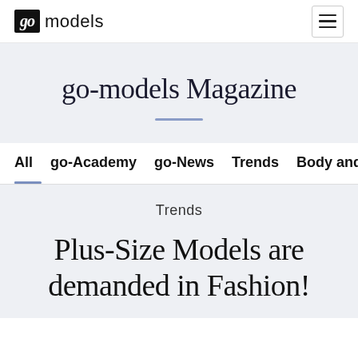go models
go-models Magazine
All  go-Academy  go-News  Trends  Body and
Trends
Plus-Size Models are demanded in Fashion!